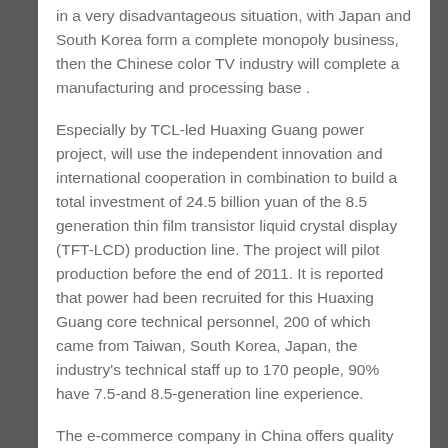in a very disadvantageous situation, with Japan and South Korea form a complete monopoly business, then the Chinese color TV industry will complete a manufacturing and processing base .
Especially by TCL-led Huaxing Guang power project, will use the independent innovation and international cooperation in combination to build a total investment of 24.5 billion yuan of the 8.5 generation thin film transistor liquid crystal display (TFT-LCD) production line. The project will pilot production before the end of 2011. It is reported that power had been recruited for this Huaxing Guang core technical personnel, 200 of which came from Taiwan, South Korea, Japan, the industry's technical staff up to 170 people, 90% have 7.5-and 8.5-generation line experience.
The e-commerce company in China offers quality